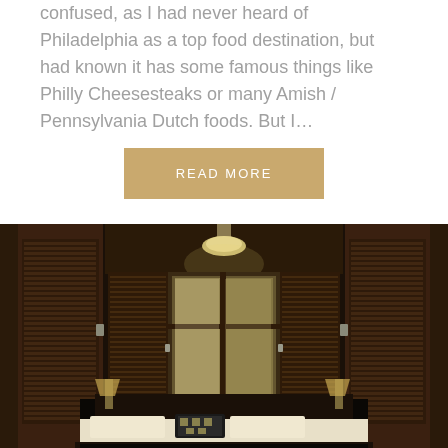confused, as I had never heard of Philadelphia as a top food destination, but had known it has some famous things like Philly Cheesesteaks or many Amish / Pennsylvania Dutch foods. But I...
READ MORE
[Figure (photo): Interior hotel room with dark mahogany wood paneling, louvered shutters on large windows, a pendant light hanging from above, a bed with white pillows and a decorative black and white pillow, bedside lamps, and scenic mural wallpaper depicting trees and sky.]